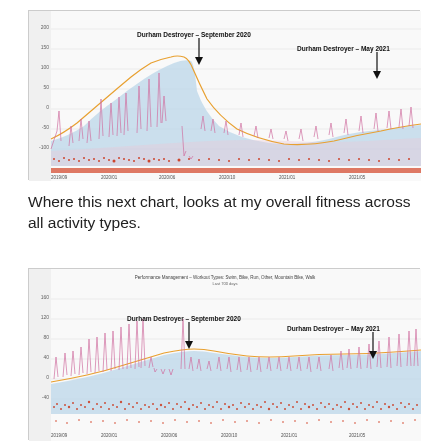[Figure (continuous-plot): Performance management chart (cycling/running activity types) showing fitness, fatigue and form lines over time. Two annotations: 'Durham Destroyer – September 2020' with downward arrow, and 'Durham Destroyer – May 2021' with downward arrow. Pink spikes, blue shaded fitness area, orange and pink lines.]
Where this next chart, looks at my overall fitness across all activity types.
[Figure (continuous-plot): Performance Management chart for Workout Types: Swim, Bike, Run, Other, Mountain Bike, Walk. Shows fitness (blue shaded area), fatigue (orange line) and form (pink line) over ~700 days. Two annotations: 'Durham Destroyer – September 2020' and 'Durham Destroyer – May 2021' with downward arrows.]